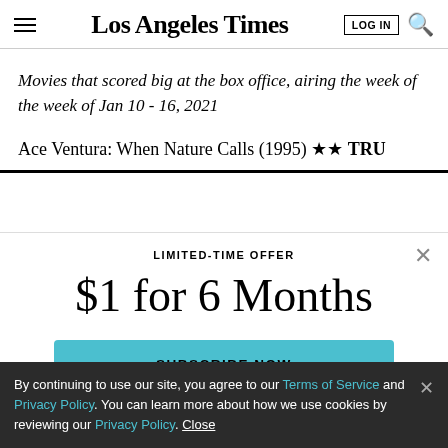Los Angeles Times
Movies that scored big at the box office, airing the week of the week of Jan 10 - 16, 2021
Ace Ventura: When Nature Calls (1995) ★★ TRU
LIMITED-TIME OFFER
$1 for 6 Months
SUBSCRIBE NOW
By continuing to use our site, you agree to our Terms of Service and Privacy Policy. You can learn more about how we use cookies by reviewing our Privacy Policy. Close